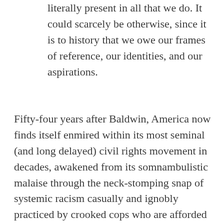literally present in all that we do. It could scarcely be otherwise, since it is to history that we owe our frames of reference, our identities, and our aspirations.
Fifty-four years after Baldwin, America now finds itself enmired within its most seminal (and long delayed) civil rights movement in decades, awakened from its somnambulistic malaise through the neck-stomping snap of systemic racism casually and ignobly practiced by crooked cops who are afforded impunity rather than significant consequences. The institution of slavery has been replaced by the indignities of racial profiling, income disparity, wanton brutality, constant belittlement, and a crass cabal of Karens who are more than eager to rat out people of color so that they can scarf down their soy milk lattes and smugly return to a destination of